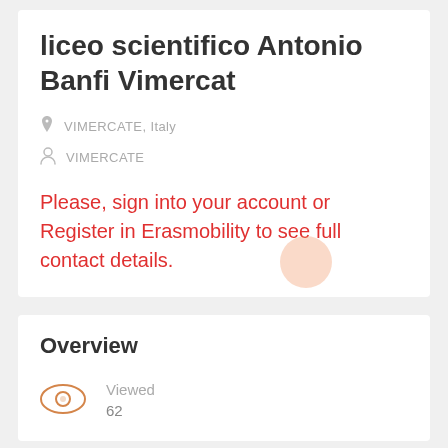liceo scientifico Antonio Banfi Vimercat
VIMERCATE, Italy
VIMERCATE
Please, sign into your account or Register in Erasmobility to see full contact details.
Overview
Viewed
62